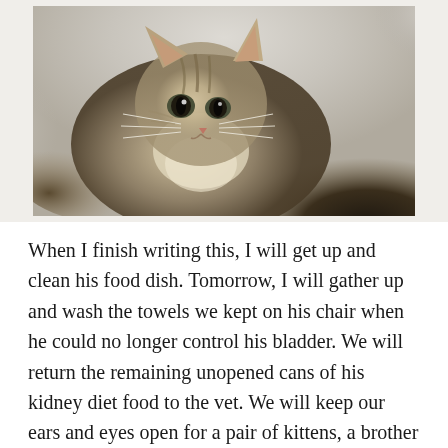[Figure (photo): Close-up photograph of a tabby cat looking at the camera, with detailed fur markings, whiskers visible, and a blurred light background. The cat appears to be a brown/grey tabby with striped markings on its forehead.]
When I finish writing this, I will get up and clean his food dish. Tomorrow, I will gather up and wash the towels we kept on his chair when he could no longer control his bladder. We will return the remaining unopened cans of his kidney diet food to the vet. We will keep our ears and eyes open for a pair of kittens, a brother and a sister duo, who will help make our little family complete once